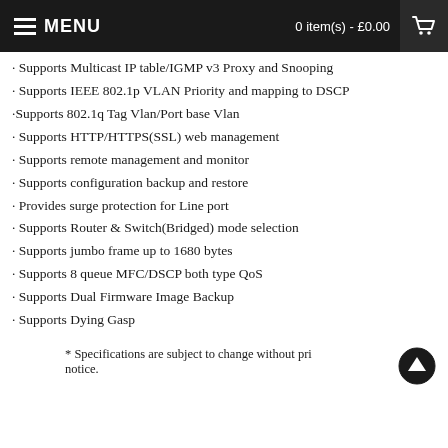MENU  0 item(s) - £0.00
· Supports Multicast IP table/IGMP v3 Proxy and Snooping
· Supports IEEE 802.1p VLAN Priority and mapping to DSCP
·Supports 802.1q Tag Vlan/Port base Vlan
· Supports HTTP/HTTPS(SSL) web management
· Supports remote management and monitor
· Supports configuration backup and restore
· Provides surge protection for Line port
· Supports Router & Switch(Bridged) mode selection
· Supports jumbo frame up to 1680 bytes
· Supports 8 queue MFC/DSCP both type QoS
· Supports Dual Firmware Image Backup
· Supports Dying Gasp
* Specifications are subject to change without prior notice.